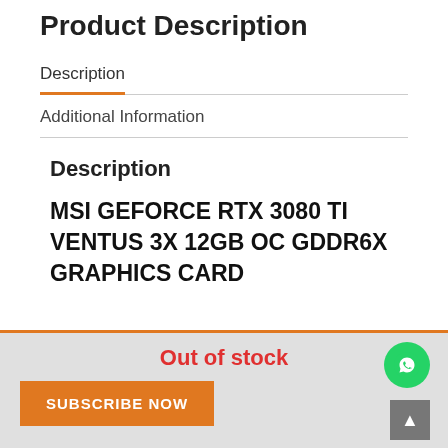Product Description
Description
Additional Information
Description
MSI GEFORCE RTX 3080 TI VENTUS 3X 12GB OC GDDR6X GRAPHICS CARD
Out of stock
SUBSCRIBE NOW